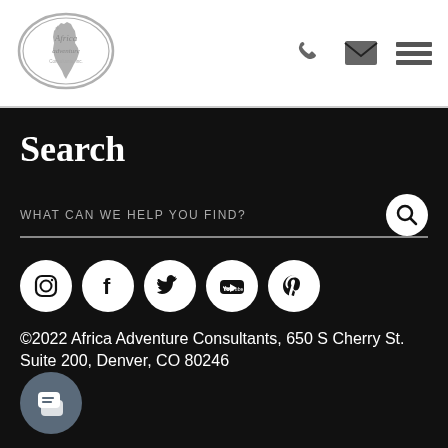[Figure (logo): Africa Adventure Consultants oval logo in grey/silver]
[Figure (infographic): Phone, email, and hamburger menu icons in grey]
Search
WHAT CAN WE HELP YOU FIND?
[Figure (infographic): Social media icons: Instagram, Facebook, Twitter, YouTube, Pinterest]
©2022 Africa Adventure Consultants, 650 S Cherry St. Suite 200, Denver, CO 80246